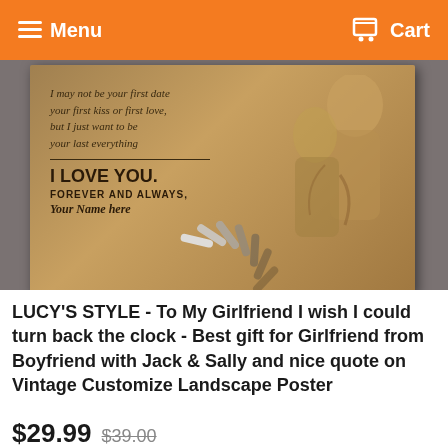Menu   Cart
[Figure (photo): Product image of a vintage landscape poster with romantic quote 'I may not be your first date your first kiss or first love, but I just want to be your last everything. I LOVE YOU. FOREVER AND ALWAYS, Your Name here' with Jack & Sally illustration, overlaid with a loading spinner animation]
LUCY'S STYLE - To My Girlfriend I wish I could turn back the clock - Best gift for Girlfriend from Boyfriend with Jack & Sally and nice quote on Vintage Customize Landscape Poster
$29.99 $39.00